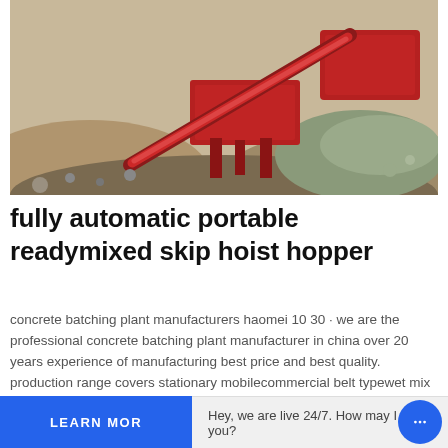[Figure (photo): A red mobile concrete batching plant / crusher machine operating on a gravel and sand mound outdoors. The machine is large, red-colored with a conveyor belt extended diagonally.]
fully automatic portable readymixed skip hoist hopper
concrete batching plant manufacturers haomei 10 30 · we are the professional concrete batching plant manufacturer in china over 20 years experience of manufacturing best price and best quality. production range covers stationary mobilecommercial belt typewet mix ready mixed skip hopper type concrete batching plant adn so on.
LEARN MORE
Hey, we are live 24/7. How may I help you?